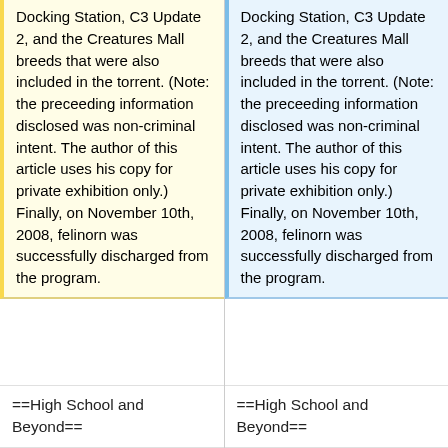Docking Station, C3 Update 2, and the Creatures Mall breeds that were also included in the torrent. (Note: the preceeding information disclosed was non-criminal intent. The author of this article uses his copy for private exhibition only.) Finally, on November 10th, 2008, felinorn was successfully discharged from the program.
Docking Station, C3 Update 2, and the Creatures Mall breeds that were also included in the torrent. (Note: the preceeding information disclosed was non-criminal intent. The author of this article uses his copy for private exhibition only.) Finally, on November 10th, 2008, felinorn was successfully discharged from the program.
==High School and Beyond==
==High School and Beyond==
While felinorn was in high school, in his junior year he got a new Windows 7 Home
While felinorn was in high school, in his junior year he got a new Windows 7 Home